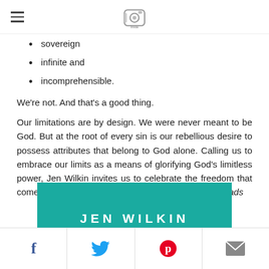[Hamburger menu icon] [Instagram icon]
sovereign
infinite and
incomprehensible.
We're not. And that's a good thing.
Our limitations are by design. We were never meant to be God. But at the root of every sin is our rebellious desire to possess attributes that belong to God alone. Calling us to embrace our limits as a means of glorifying God's limitless power, Jen Wilkin invites us to celebrate the freedom that comes when we rest in letting God be God." --goodreads
[Figure (other): Teal colored block with partial text JEN WILKIN in white bold letters]
Social share bar with Facebook, Twitter, Pinterest, and Email icons